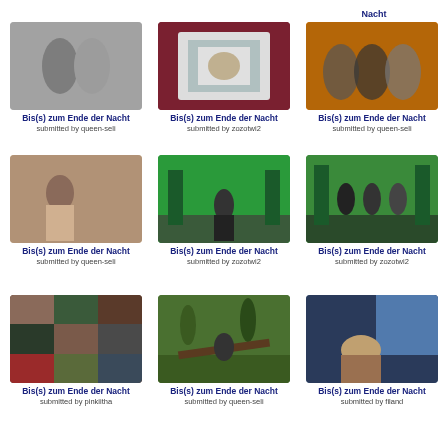Bis(s) zum Ende der Nacht
submitted by queen-seli
[Figure (photo): Black and white photo of two people]
Bis(s) zum Ende der Nacht
submitted by queen-seli
[Figure (photo): Wedding scene framed picture on dark red background]
Bis(s) zum Ende der Nacht
submitted by zozotwi2
[Figure (photo): Movie poster Breaking Dawn with orange sky]
Bis(s) zum Ende der Nacht
submitted by queen-seli
[Figure (photo): Woman in white top standing indoors]
Bis(s) zum Ende der Nacht
submitted by queen-seli
[Figure (photo): Person standing in front of green screen]
Bis(s) zum Ende der Nacht
submitted by zozotwi2
[Figure (photo): Three people in front of green screen]
Bis(s) zum Ende der Nacht
submitted by zozotwi2
[Figure (photo): Collage of multiple movie scenes]
Bis(s) zum Ende der Nacht
submitted by pinkiitha
[Figure (photo): Person carrying log in forest]
Bis(s) zum Ende der Nacht
submitted by queen-seli
[Figure (photo): Woman reclining in chair with screen behind]
Bis(s) zum Ende der Nacht
submitted by filand